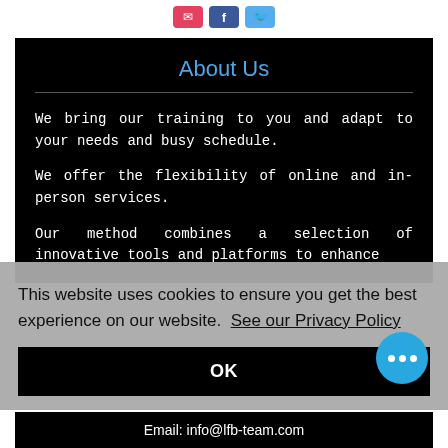[Figure (other): Social media icons: email (pink/red), Facebook (blue), Twitter (light blue)]
About Us
We bring our training to you and adapt to your needs and busy schedule.
We offer the flexibility of online and in-person services.
Our method combines a selection of innovative tools and platforms to enhance
This website uses cookies to ensure you get the best experience on our website. See our Privacy Policy
OK
Email: info@lfb-team.com